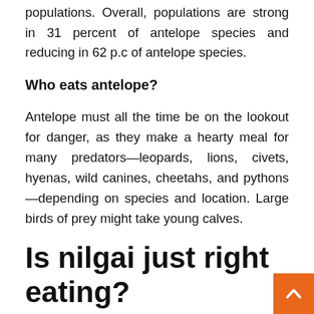populations. Overall, populations are strong in 31 percent of antelope species and reducing in 62 p.c of antelope species.
Who eats antelope?
Antelope must all the time be on the lookout for danger, as they make a hearty meal for many predators—leopards, lions, civets, hyenas, wild canines, cheetahs, and pythons—depending on species and location. Large birds of prey might take young calves.
Is nilgai just right eating?
Our best possible promoting recreation meat is South Texas Antelope. The meat has a mild t with a just right texture, much like veal. It is